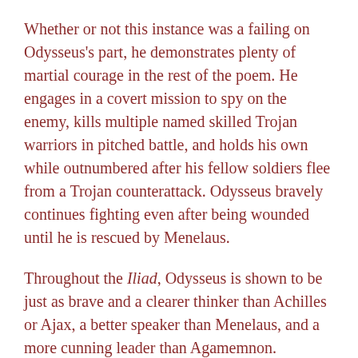Whether or not this instance was a failing on Odysseus's part, he demonstrates plenty of martial courage in the rest of the poem. He engages in a covert mission to spy on the enemy, kills multiple named skilled Trojan warriors in pitched battle, and holds his own while outnumbered after his fellow soldiers flee from a Trojan counterattack. Odysseus bravely continues fighting even after being wounded until he is rescued by Menelaus.
Throughout the Iliad, Odysseus is shown to be just as brave and a clearer thinker than Achilles or Ajax, a better speaker than Menelaus, and a more cunning leader than Agamemnon.
Odysseus as the Cunning Survivor in the Odyssey
Odysseus's brilliance after leaving Troy in the Odyssey is legendary. In one of the most famous incidents from The Odyssey, Odysseus and his men